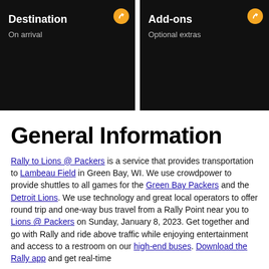[Figure (screenshot): Dark card showing 'Destination' label with subtitle 'On arrival' and orange circular badge with arrow icon, top-left card]
[Figure (screenshot): Dark card showing 'Add-ons' label with subtitle 'Optional extras' and orange circular badge with arrow icon, top-right card]
General Information
Rally to Lions @ Packers is a service that provides transportation to Lambeau Field in Green Bay, WI. We use crowdpower to provide shuttles to all games for the Green Bay Packers and the Detroit Lions. We use technology and great local operators to offer round trip and one-way bus travel from a Rally Point near you to Lions @ Packers on Sunday, January 8, 2023. Get together and go with Rally and ride above traffic while enjoying entertainment and access to a restroom on our high-end buses. Download the Rally app and get real-time